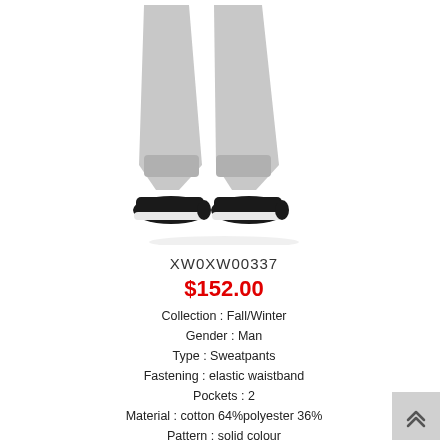[Figure (photo): Photo of lower body of a male model wearing light gray sweatpants and black sneakers on a white background]
XW0XW00337
$152.00
Collection : Fall/Winter
Gender : Man
Type : Sweatpants
Fastening : elastic waistband
Pockets : 2
Material : cotton 64%polyester 36%
Pattern : solid colour
Washing : wash at 30° C
Model height, cm : 185